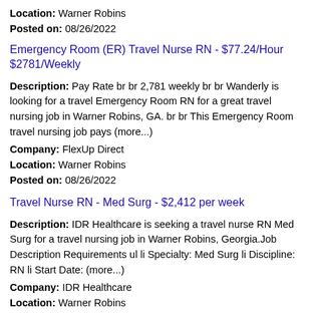Location: Warner Robins
Posted on: 08/26/2022
Emergency Room (ER) Travel Nurse RN - $77.24/Hour $2781/Weekly
Description: Pay Rate br br 2,781 weekly br br Wanderly is looking for a travel Emergency Room RN for a great travel nursing job in Warner Robins, GA. br br This Emergency Room travel nursing job pays (more...)
Company: FlexUp Direct
Location: Warner Robins
Posted on: 08/26/2022
Travel Nurse RN - Med Surg - $2,412 per week
Description: IDR Healthcare is seeking a travel nurse RN Med Surg for a travel nursing job in Warner Robins, Georgia.Job Description Requirements ul li Specialty: Med Surg li Discipline: RN li Start Date: (more...)
Company: IDR Healthcare
Location: Warner Robins
Posted on: 08/26/2022
Salary in Albany, Georgia Area | More details for Albany, Georgia Jobs |Salary